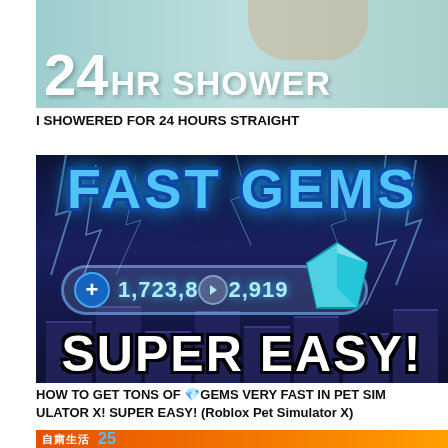[Figure (screenshot): Video thumbnail showing '24HR SHOWER' text over a teal/mint colored background with a person partially visible]
I SHOWERED FOR 24 HOURS STRAIGHT
[Figure (screenshot): Gaming video thumbnail with 'FAST GEMS' in large blue text, lightning background, counter showing '+1,723,8(play button)2,919' with a blue gem icon, and 'SUPER EASY!' text at the bottom]
HOW TO GET TONS OF 💎GEMS VERY FAST IN PET SIMULATOR X! SUPER EASY! (Roblox Pet Simulator X)
[Figure (screenshot): Partial view of a video thumbnail with orange background and Japanese/Chinese text, partially cut off at bottom of page]